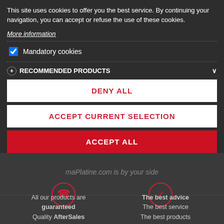This site uses cookies to offer you the best service. By continuing your navigation, you can accept or refuse the use of these cookies.
More information
CUSTOMER REVIEWS
Mandatory cookies
RECOMMENDED PRODUCTS
DENY ALL
ACCEPT CURRENT SELECTION
maPlatine.com is by your side
ACCEPT ALL
All our products are guaranteed
Quality AfterSales
The best advice
The best service
The best products